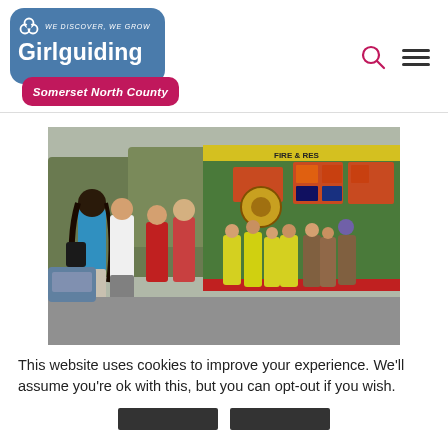[Figure (logo): Girlguiding Somerset North County logo with blue rounded rectangle, pink ribbon banner, trefoil icon, tagline WE DISCOVER, WE GROW]
[Figure (photo): Group of children in yellow high-vis vests looking at an open fire and rescue truck. Adults including a woman with long dark hair and blue top stand nearby. Outdoor setting.]
This website uses cookies to improve your experience. We'll assume you're ok with this, but you can opt-out if you wish.